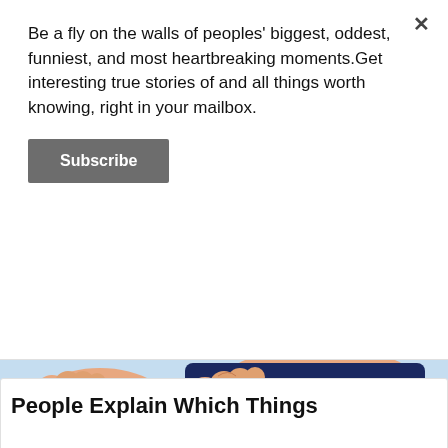Be a fly on the walls of peoples' biggest, oddest, funniest, and most heartbreaking moments.Get interesting true stories of and all things worth knowing, right in your mailbox.
Subscribe
[Figure (illustration): Illustration of feet wearing blue slide sandals on a light blue background, close-up view showing toes]
The First Signs of Lung Cancer (Write These Down)
Lung | Sponsored Links
People Explain Which Things